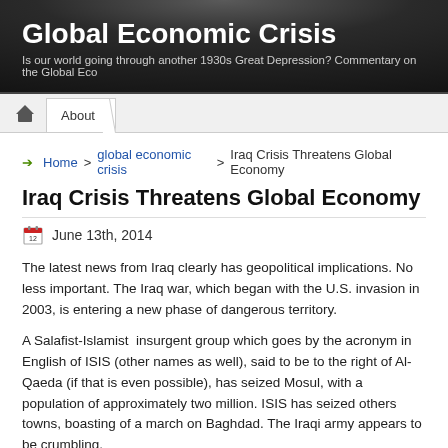Global Economic Crisis
Is our world going through another 1930s Great Depression? Commentary on the Global Eco...
About
Home > global economic crisis > Iraq Crisis Threatens Global Economy
Iraq Crisis Threatens Global Economy
June 13th, 2014
The latest news from Iraq clearly has geopolitical implications. No less important. The Iraq war, which began with the U.S. invasion in 2003, is entering a new phase of dangerous territory.
A Salafist-Islamist insurgent group which goes by the acronym in English of ISIS (other names as well), said to be to the right of Al-Qaeda (if that is even possible), has seized Mosul, with a population of approximately two million. ISIS has seized others towns, boasting of a march on Baghdad. The Iraqi army appears to be crumbling.
Amid talk of the United States getting back into the Iraq war, or Iran intervening directly, forces, the price of oil has begun to spike. Normally, any military conflict, especially will...